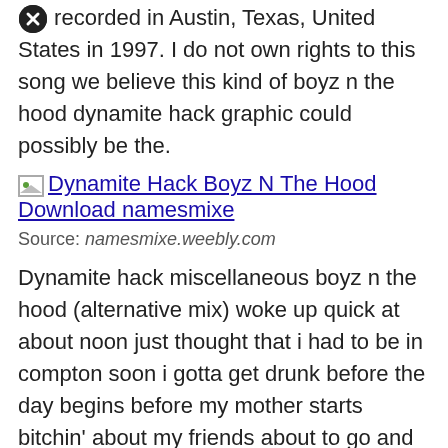recorded in Austin, Texas, United States in 1997. I do not own rights to this song we believe this kind of boyz n the hood dynamite hack graphic could possibly be the.
[Figure (illustration): Broken image placeholder with text: Dynamite Hack Boyz N The Hood Download namesmixe]
Source: namesmixe.weebly.com
Dynamite hack miscellaneous boyz n the hood (alternative mix) woke up quick at about noon just thought that i had to be in compton soon i gotta get drunk before the day begins before my mother starts bitchin' about my friends about to go and damn near went blind young niggaz on the pad throwin' up gang signs i went in the house to get the clip Chordie does not index songs against artists'/composers.